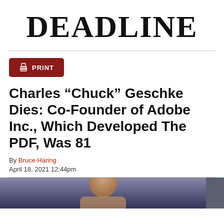DEADLINE
PRINT
Charles “Chuck” Geschke Dies: Co-Founder of Adobe Inc., Which Developed The PDF, Was 81
By Bruce Haring
April 18, 2021 12:44pm
[Figure (photo): Photo of Charles Geschke, partially visible at bottom of page]